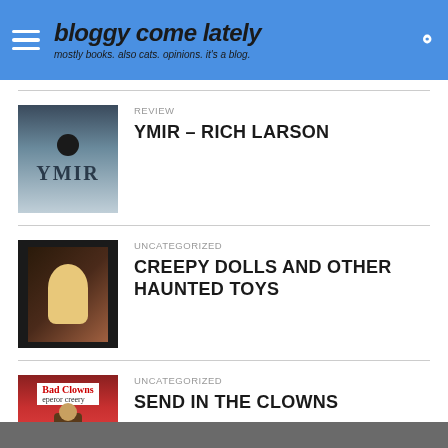bloggy come lately – mostly books. also cats. opinions. it's a blog.
REVIEW
YMIR – RICH LARSON
[Figure (illustration): Book cover for YMIR by Rich Larson – dark teal/blue tones with large stylized YMIR text and an orb]
UNCATEGORIZED
CREEPY DOLLS AND OTHER HAUNTED TOYS
[Figure (illustration): Book cover for Creepy Dolls and Other Haunted Toys – dark background with a doll figure]
UNCATEGORIZED
SEND IN THE CLOWNS
[Figure (illustration): Book cover for Bad Clowns – red and green background with a clown figure and small child]